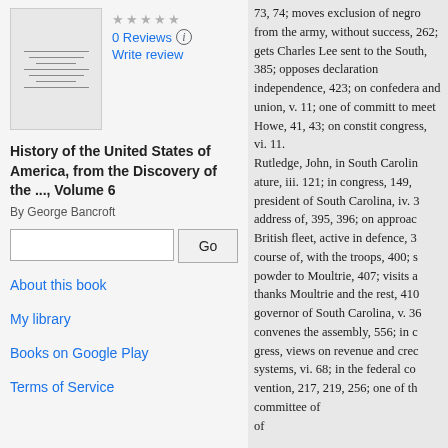[Figure (illustration): Book cover thumbnail for History of the United States of America]
0 Reviews
Write review
History of the United States of America, from the Discovery of the ..., Volume 6
By George Bancroft
About this book
My library
Books on Google Play
Terms of Service
73, 74; moves exclusion of negro from the army, without success, 262; gets Charles Lee sent to the South, 385; opposes declaration independence, 423; on confedera and union, v. 11; one of committ to meet Howe, 41, 43; on constit congress, vi. 11. Rutledge, John, in South Carolin ature, iii. 121; in congress, 149, president of South Carolina, iv. 3 address of, 395, 396; on approac British fleet, active in defence, 3 course of, with the troops, 400; s powder to Moultrie, 407; visits a thanks Moultrie and the rest, 410 governor of South Carolina, v. 36 convenes the assembly, 556; in c gress, views on revenue and crec systems, vi. 68; in the federal co vention, 217, 219, 256; one of th committee of of